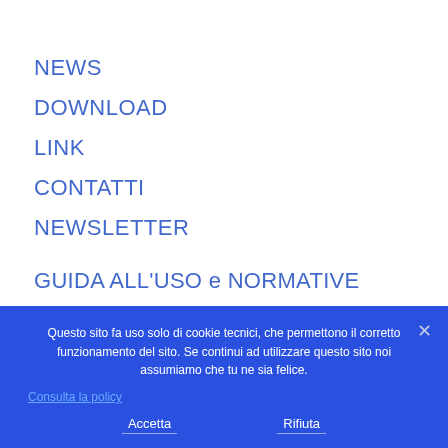NEWS
DOWNLOAD
LINK
CONTATTI
NEWSLETTER
GUIDA ALL'USO e NORMATIVE
CONDIZIONI DI VENDITA
PRIVACY
Questo sito fa uso solo di cookie tecnici, che permettono il corretto funzionamento del sito. Se continui ad utilizzare questo sito noi assumiamo che tu ne sia felice.
Consulta la policy
Accetta
Rifiuta